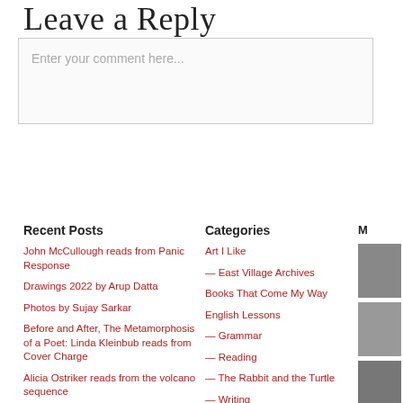Leave a Reply
Enter your comment here...
Recent Posts
John McCullough reads from Panic Response
Drawings 2022 by Arup Datta
Photos by Sujay Sarkar
Before and After, The Metamorphosis of a Poet: Linda Kleinbub reads from Cover Charge
Alicia Ostriker reads from the volcano sequence
Categories
Art I Like
— East Village Archives
Books That Come My Way
English Lessons
— Grammar
— Reading
— The Rabbit and the Turtle
— Writing
M…
[Figure (photo): Four small thumbnail photos partially visible on the right edge of the page]